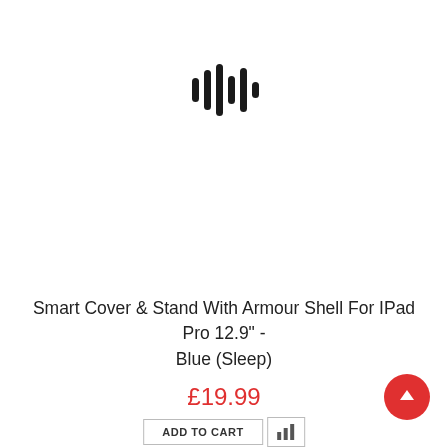[Figure (other): Sound wave / audio waveform icon with vertical bars of varying heights]
Smart Cover & Stand With Armour Shell For IPad Pro 12.9" - Blue (Sleep)
£19.99
[Figure (other): Add to Cart button and bar chart icon button side by side]
[Figure (other): Red circular scroll-to-top button with upward arrow]